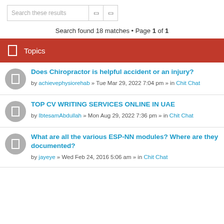Search these results
Search found 18 matches • Page 1 of 1
Topics
Does Chiropractor is helpful accident or an injury?
by achievephysiorehab » Tue Mar 29, 2022 7:04 pm » in Chit Chat
TOP CV WRITING SERVICES ONLINE IN UAE
by IbtesamAbdullah » Mon Aug 29, 2022 7:36 pm » in Chit Chat
What are all the various ESP-NN modules? Where are they documented?
by jayeye » Wed Feb 24, 2016 5:06 am » in Chit Chat